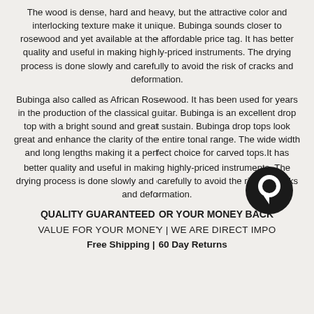The wood is dense, hard and heavy, but the attractive color and interlocking texture make it unique. Bubinga sounds closer to rosewood and yet available at the affordable price tag. It has better quality and useful in making highly-priced instruments. The drying process is done slowly and carefully to avoid the risk of cracks and deformation.
Bubinga also called as African Rosewood. It has been used for years in the production of the classical guitar. Bubinga is an excellent drop top with a bright sound and great sustain. Bubinga drop tops look great and enhance the clarity of the entire tonal range. The wide width and long lengths making it a perfect choice for carved tops.It has better quality and useful in making highly-priced instruments. The drying process is done slowly and carefully to avoid the risk of cracks and deformation.
QUALITY GUARANTEED OR YOUR MONEY BACK
VALUE FOR YOUR MONEY | WE ARE DIRECT IMPO...
Free Shipping | 60 Day Returns